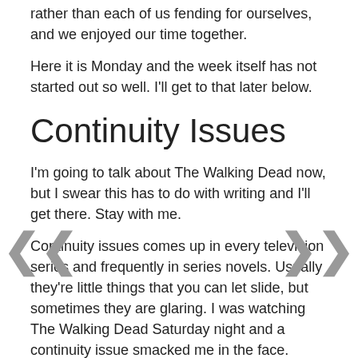rather than each of us fending for ourselves, and we enjoyed our time together.
Here it is Monday and the week itself has not started out so well. I'll get to that later below.
Continuity Issues
I'm going to talk about The Walking Dead now, but I swear this has to do with writing and I'll get there. Stay with me.
Continuity issues comes up in every television series and frequently in series novels. Usually they're little things that you can let slide, but sometimes they are glaring. I was watching The Walking Dead Saturday night and a continuity issue smacked me in the face.
In season 1 of the series, Rick and Glen had to walk through a group of zombies (They're called Walkers on the show). I don't remember why they had to do this, but I think it was to reach a car or something like